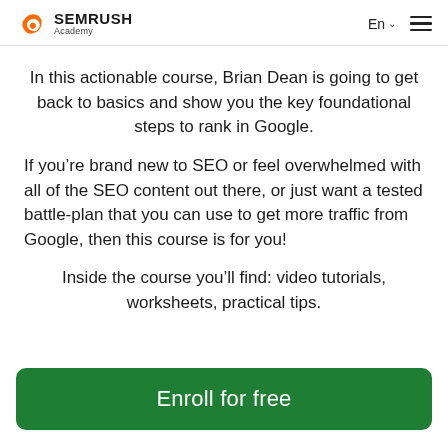SEMRUSH Academy | En | menu
In this actionable course, Brian Dean is going to get back to basics and show you the key foundational steps to rank in Google.
If you’re brand new to SEO or feel overwhelmed with all of the SEO content out there, or just want a tested battle-plan that you can use to get more traffic from Google, then this course is for you!
Inside the course you’ll find: video tutorials, worksheets, practical tips.
Enroll for free